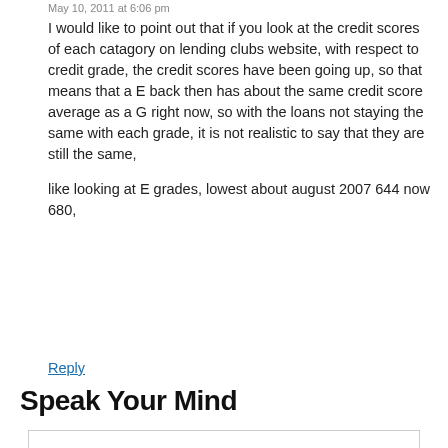May 10, 2011 at 6:06 pm
I would like to point out that if you look at the credit scores of each catagory on lending clubs website, with respect to credit grade, the credit scores have been going up, so that means that a E back then has about the same credit score average as a G right now, so with the loans not staying the same with each grade, it is not realistic to say that they are still the same,
like looking at E grades, lowest about august 2007 644 now 680,
Reply
Speak Your Mind